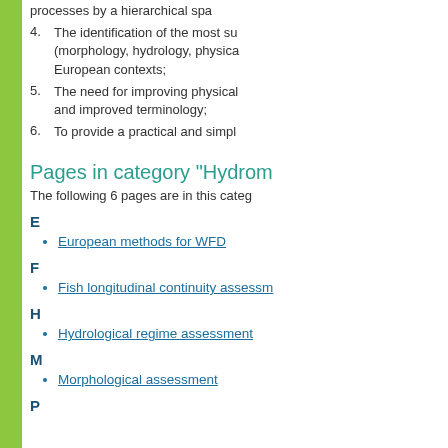processes by a hierarchical spa
4. The identification of the most su (morphology, hydrology, physica European contexts;
5. The need for improving physical and improved terminology;
6. To provide a practical and simpl
Pages in category "Hydrom
The following 6 pages are in this categ
E
European methods for WFD
F
Fish longitudinal continuity assessm
H
Hydrological regime assessment
M
Morphological assessment
P